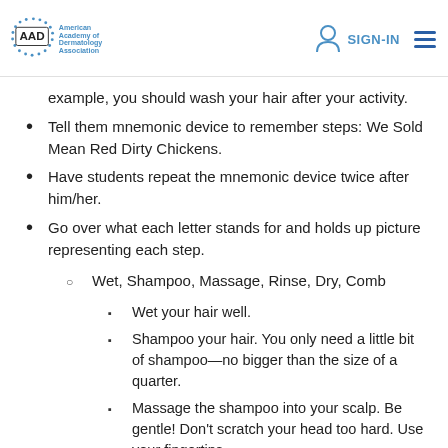AAD American Academy of Dermatology Association | SIGN-IN
example, you should wash your hair after your activity.
Tell them mnemonic device to remember steps: We Sold Mean Red Dirty Chickens.
Have students repeat the mnemonic device twice after him/her.
Go over what each letter stands for and holds up picture representing each step.
Wet, Shampoo, Massage, Rinse, Dry, Comb
Wet your hair well.
Shampoo your hair. You only need a little bit of shampoo—no bigger than the size of a quarter.
Massage the shampoo into your scalp. Be gentle! Don't scratch your head too hard. Use your fingertips.
Rinse your hair thoroughly until you don't see any more soap or bubbles.